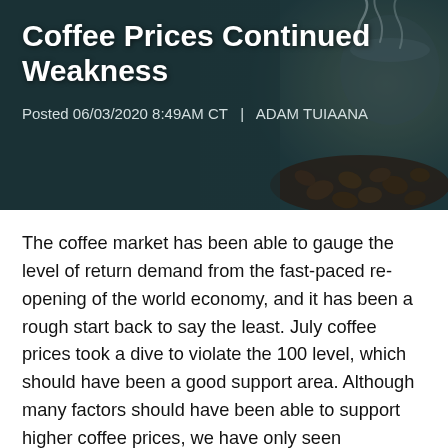[Figure (photo): Hero banner image of a coffee cup with steam and coffee beans, overlaid with article title and author/date metadata on a dark teal background]
Coffee Prices Continued Weakness
Posted 06/03/2020 8:49AM CT  |  ADAM TUIAANA
The coffee market has been able to gauge the level of return demand from the fast-paced re-opening of the world economy, and it has been a rough start back to say the least. July coffee prices took a dive to violate the 100 level, which should have been a good support area. Although many factors should have been able to support higher coffee prices, we have only seen weakness. Some demand has returned to coffee with the re-opening of the economy, but it has not been nearly enough to offset the upcoming large Brazilian crop that will ultimately need to